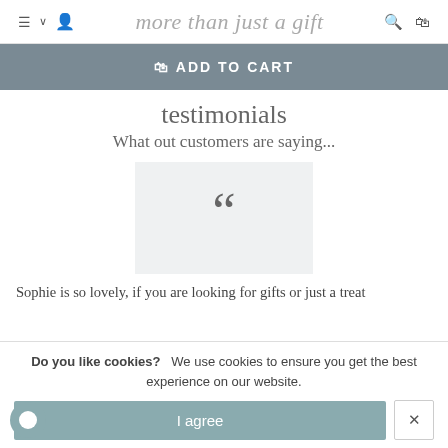more than just a gift
ADD TO CART
testimonials
What out customers are saying...
[Figure (illustration): Large open quotation marks on a light grey background box]
Sophie is so lovely, if you are looking for gifts or just a treat
Do you like cookies?   We use cookies to ensure you get the best experience on our website.
I agree